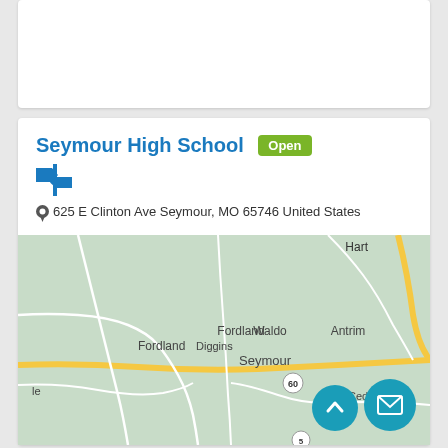Seymour High School Open
625 E Clinton Ave Seymour, MO 65746 United States
[Figure (map): Google map showing Seymour, MO area with roads, including Fordland, Diggins, Waldo, Antrim, Seymour, Cedar Gap labeled, with highway 60 visible and surrounding towns.]